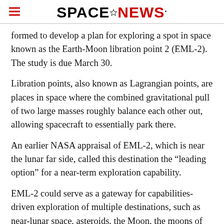SPACENEWS
formed to develop a plan for exploring a spot in space known as the Earth-Moon libration point 2 (EML-2). The study is due March 30.
Libration points, also known as Lagrangian points, are places in space where the combined gravitational pull of two large masses roughly balance each other out, allowing spacecraft to essentially park there.
An earlier NASA appraisal of EML-2, which is near the lunar far side, called this destination the “leading option” for a near-term exploration capability.
EML-2 could serve as a gateway for capabilities-driven exploration of multiple destinations, such as near-lunar space, asteroids, the Moon, the moons of Mars and